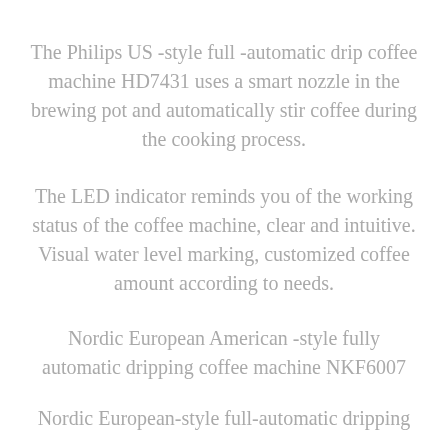The Philips US -style full -automatic drip coffee machine HD7431 uses a smart nozzle in the brewing pot and automatically stir coffee during the cooking process.
The LED indicator reminds you of the working status of the coffee machine, clear and intuitive. Visual water level marking, customized coffee amount according to needs.
Nordic European American -style fully automatic dripping coffee machine NKF6007
Nordic European-style full-automatic dripping